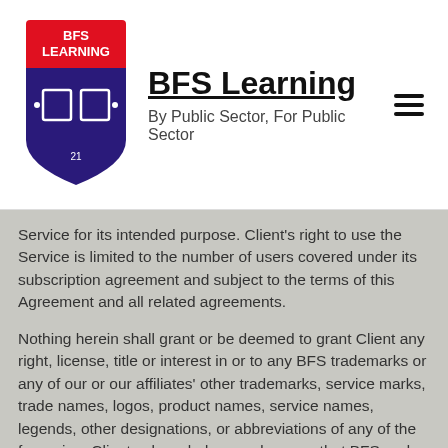[Figure (logo): BFS Learning shield logo in red and dark blue/purple with an open book icon and text 'BFS LEARNING']
BFS Learning
By Public Sector, For Public Sector
Service for its intended purpose. Client's right to use the Service is limited to the number of users covered under its subscription agreement and subject to the terms of this Agreement and all related agreements.
Nothing herein shall grant or be deemed to grant Client any right, license, title or interest in or to any BFS trademarks or any of our or our affiliates' other trademarks, service marks, trade names, logos, product names, service names, legends, other designations, or abbreviations of any of the foregoing. Client acknowledges and agrees that BFS and our affiliates retain any and all intellectual property and other proprietary rights in and to the trademarks.
Client may not imitate the trade dress or "look and feel"